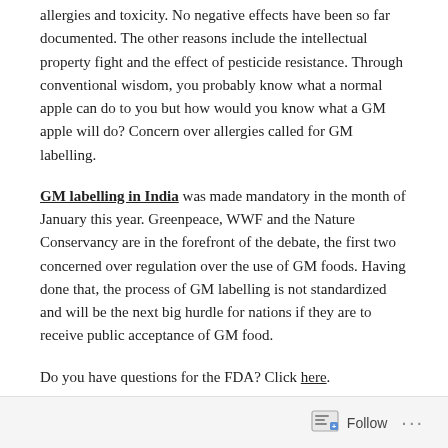allergies and toxicity. No negative effects have been so far documented. The other reasons include the intellectual property fight and the effect of pesticide resistance. Through conventional wisdom, you probably know what a normal apple can do to you but how would you know what a GM apple will do? Concern over allergies called for GM labelling.
GM labelling in India was made mandatory in the month of January this year. Greenpeace, WWF and the Nature Conservancy are in the forefront of the debate, the first two concerned over regulation over the use of GM foods. Having done that, the process of GM labelling is not standardized and will be the next big hurdle for nations if they are to receive public acceptance of GM food.
Do you have questions for the FDA? Click here.
Follow